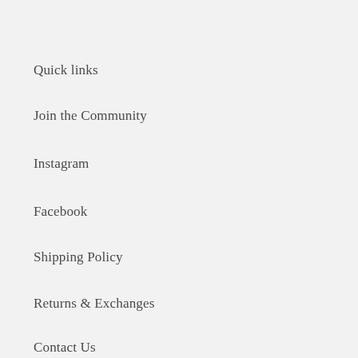Quick links
Join the Community
Instagram
Facebook
Shipping Policy
Returns & Exchanges
Contact Us